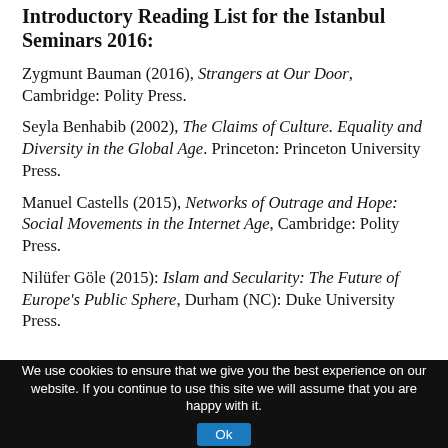Introductory Reading List for the Istanbul Seminars 2016:
Zygmunt Bauman (2016), Strangers at Our Door, Cambridge: Polity Press.
Seyla Benhabib (2002), The Claims of Culture. Equality and Diversity in the Global Age. Princeton: Princeton University Press.
Manuel Castells (2015), Networks of Outrage and Hope: Social Movements in the Internet Age, Cambridge: Polity Press.
Nilüfer Göle (2015): Islam and Secularity: The Future of Europe's Public Sphere, Durham (NC): Duke University Press.
We use cookies to ensure that we give you the best experience on our website. If you continue to use this site we will assume that you are happy with it. Ok